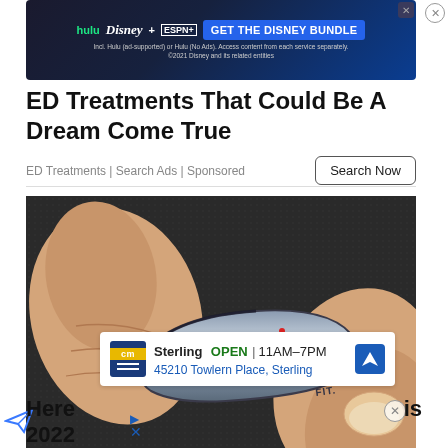[Figure (screenshot): Disney Bundle advertisement banner showing Hulu, Disney+, and ESPN+ logos with 'GET THE DISNEY BUNDLE' button on dark blue background]
ED Treatments That Could Be A Dream Come True
ED Treatments | Search Ads | Sponsored
[Figure (photo): Close-up photo of fingers holding a tiny Nokia ring-shaped device with message and call icons and 'FIT.' text on a dark textured background]
[Figure (screenshot): Inline local ad showing CM logo, Sterling store OPEN 11AM-7PM, 45210 Towlern Place, Sterling, with navigation arrow]
Here is